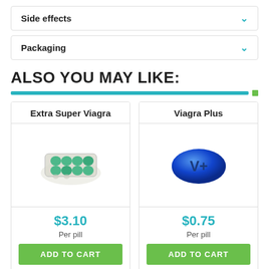Side effects
Packaging
ALSO YOU MAY LIKE:
[Figure (infographic): Product cards for Extra Super Viagra ($3.10 per pill) and Viagra Plus ($0.75 per pill), each with product image and ADD TO CART button]
Viagra Jelly
Viagra Super